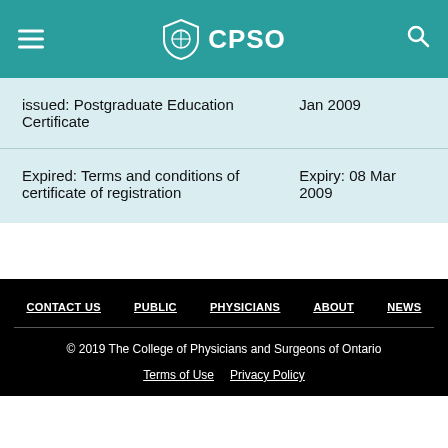CPSO
| Description | Date |
| --- | --- |
| issued: Postgraduate Education Certificate | Jan 2009 |
| Expired: Terms and conditions of certificate of registration | Expiry: 08 Mar 2009 |
CONTACT US   PUBLIC   PHYSICIANS   ABOUT   NEWS
© 2019 The College of Physicians and Surgeons of Ontario
Terms of Use   Privacy Policy